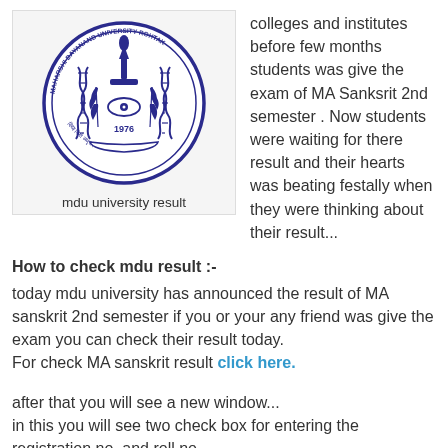[Figure (logo): MDU (Maharshi Dayanand University) Rohtak circular seal/logo in blue and white, 1976]
mdu university result
colleges and institutes before few months students was give the exam of MA Sanksrit 2nd semester . Now students were waiting for there result and their hearts was beating festally when they were thinking about their result...
How to check mdu result :-
today mdu university has announced the result of MA sanskrit 2nd semester if you or your any friend was give the exam you can check their result today.
For check MA sanskrit result click here.
after that you will see a new window...
in this you will see two check box for entering the registration no. and roll no.
in first box please enter your registration no in second enter